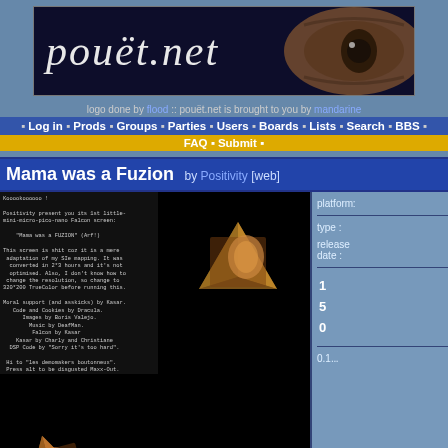[Figure (logo): pouet.net logo banner with stylized text and eye graphic on dark background]
logo done by flood :: pouet.net is brought to you by mandarine
Log in • Prods • Groups • Parties • Users • Boards • Lists • Search • BBS
FAQ • Submit •
Mama was a Fuzion by Positivity [web]
[Figure (screenshot): Screenshot 1: text screen with Kooookoooooo! message and credits in monospace font on dark background]
[Figure (screenshot): Screenshot 2: 3D textured cube on black background]
[Figure (screenshot): Screenshot 3: 3D textured cube at bottom left on black background]
[Figure (screenshot): Screenshot 4: 3D textured object at bottom right on black background]
platform:
type :
release date :
1
5
0
0.1...